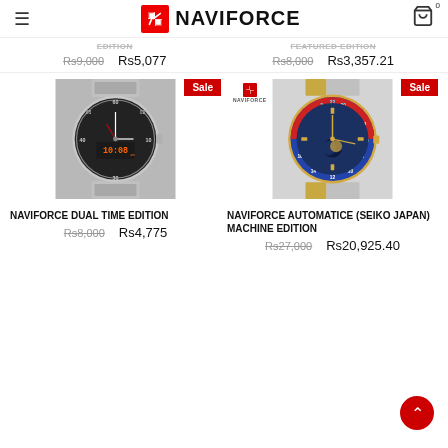NAVIFORCE
EDITION   Rs9,000  Rs5,077    Rs8,000  Rs3,357.21
[Figure (photo): Naviforce Dual Time Edition watch with black dial, silver stainless steel bracelet and digital-analog display. Sale badge in top right corner.]
[Figure (photo): Naviforce Automatice (Seiko Japan) Machine Edition watch with blue dial, red-blue bezel, gold and silver bracelet. Sale badge in top right corner. Naviforce logo in top left.]
NAVIFORCE DUAL TIME EDITION
Rs8,000  Rs4,775
NAVIFORCE AUTOMATICE (SEIKO JAPAN) MACHINE EDITION
Rs27,000  Rs20,925.40